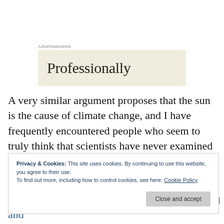Advertisements
[Figure (other): Advertisement banner with text 'Professionally' on a beige/cream background]
A very similar argument proposes that the sun is the cause of climate change, and I have frequently encountered people who seem to truly think that scientists have never examined that possibility. Again, how stupid do you think scientists are? Do you really think that it never occurred to
Privacy & Cookies: This site uses cookies. By continuing to use this website, you agree to their use.
To find out more, including how to control cookies, see here: Cookie Policy
(Meehl, et al. 2004; Wild et al. 2007; Lockwood and